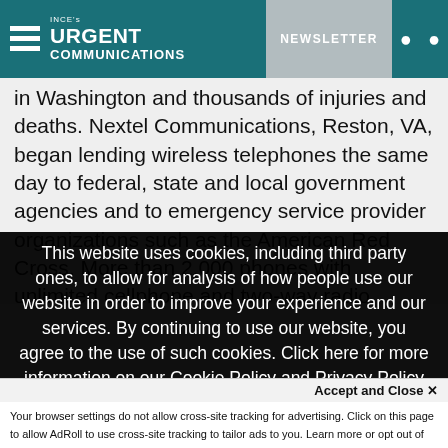INCE's URGENT COMMUNICATIONS | NEWSLETTER
in Washington and thousands of injuries and deaths. Nextel Communications, Reston, VA, began lending wireless telephones the same day to federal, state and local government agencies and to emergency service provider organizations such as the American Red Cross. More than 2,000 phones with unlimited cellphone and two-way radio service were delivered in the New York, Washington and Boston area
This website uses cookies, including third party ones, to allow for analysis of how people use our website in order to improve your experience and our services. By continuing to use our website, you agree to the use of such cookies. Click here for more information on our Cookie Policy and Privacy Policy
Accept and Close ✕
Your browser settings do not allow cross-site tracking for advertising. Click on this page to allow AdRoll to use cross-site tracking to tailor ads to you. Learn more or opt out of this AdRoll tracking by clicking here. This message only appears once.